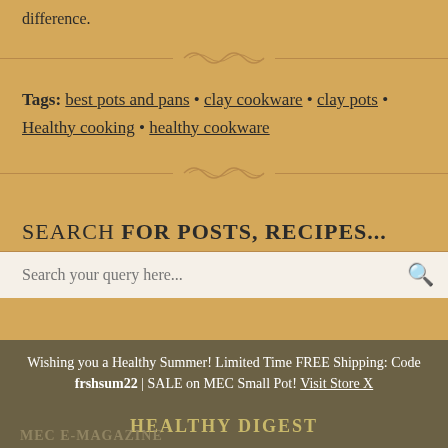difference.
Tags: best pots and pans • clay cookware • clay pots • Healthy cooking • healthy cookware
SEARCH FOR POSTS, RECIPES...
Search your query here...
Wishing you a Healthy Summer! Limited Time FREE Shipping: Code frshsum22 | SALE on MEC Small Pot! Visit Store X
MEC E-MAGAZINE
HEALTHY DIGEST